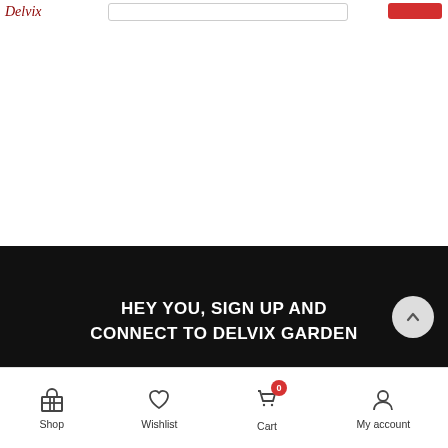[Figure (screenshot): Logo and search bar with red search button at top]
SHOW ALL POST
HEY YOU, SIGN UP AND CONNECT TO DELVIX GARDEN
Shop  Wishlist  Cart 0  My account